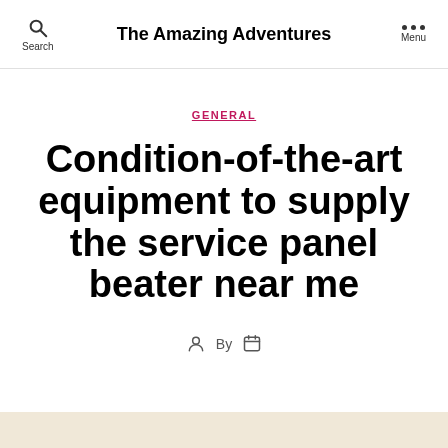Search   The Amazing Adventures   Menu
GENERAL
Condition-of-the-art equipment to supply the service panel beater near me
By